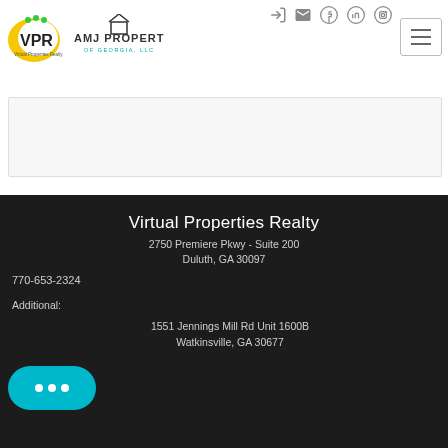[Figure (logo): VPR Virtual Properties Realty logo - crescent yellow shape with green dots and VPR text]
[Figure (logo): AMJ Properties of Georgia LLC logo - house outline with company name]
[Figure (other): Social media and navigation icons: sign-in, email, Facebook, LinkedIn, Instagram, and hamburger menu]
Virtual Properties Realty
2750 Premiere Pkwy - Suite 200
Duluth, GA 30097
770-653-2324
Additional:
1551 Jennings Mill Rd Unit 1600B
Watkinsville, GA 30677
[Figure (other): Teal chat/messaging button with three dots indicating typing]